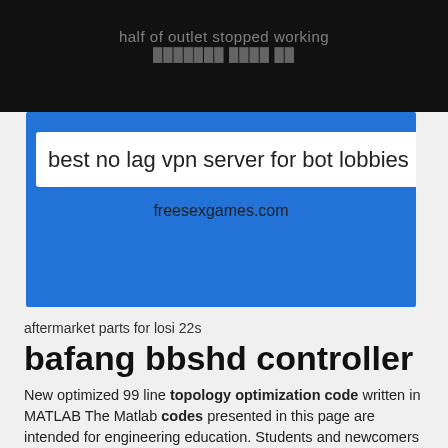half of outlet stopped working
best no lag vpn server for bot lobbies
freesexgames.com
aftermarket parts for losi 22s
bafang bbshd controller
New optimized 99 line topology optimization code written in MATLAB The Matlab codes presented in this page are intended for engineering education. Students and newcomers to the field of topology optimization can find the codes here and download them. The codes may be used in courses in structural optimization.
By tracey cooke latest prophecy
mother iranian movie